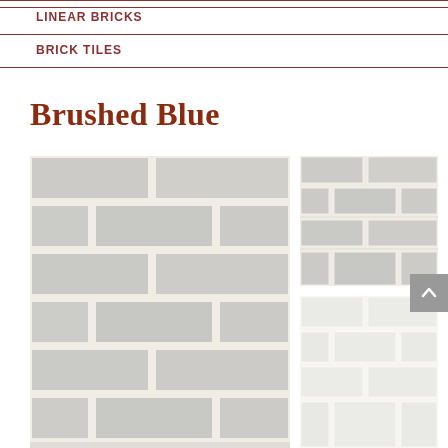LINEAR BRICKS
BRICK TILES
Brushed Blue
[Figure (photo): Large photo of brushed blue brick tiles arranged in a horizontal running bond pattern, light grey-blue color with cream mortar joints]
[Figure (photo): Smaller photo of brushed blue brick tiles in a similar pattern, upper right]
[Figure (photo): Smaller photo of very light nearly white brick tiles, lower right]